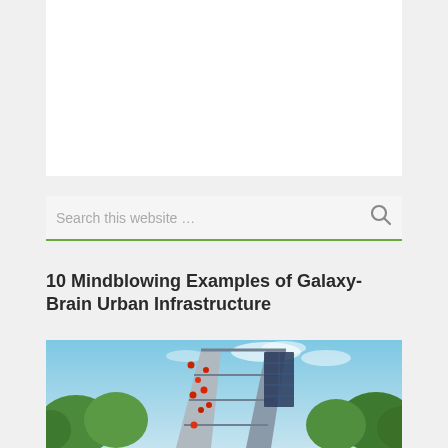[Figure (other): White rectangle placeholder box at the top of the page]
Search this website …
10 Mindblowing Examples of Galaxy-Brain Urban Infrastructure
[Figure (photo): Outdoor photo showing a tall angular structure resembling a climbing wall or infrastructure installation with red elements, surrounded by green trees under a partly cloudy blue sky]